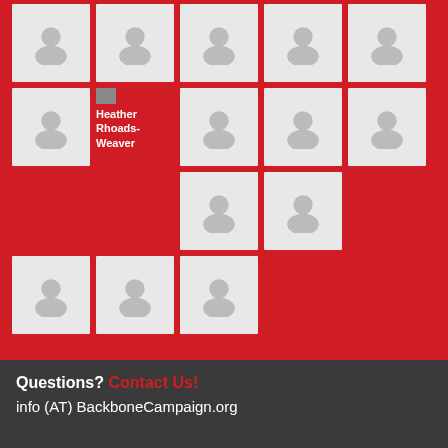[Figure (infographic): Grid of placeholder avatar images on red background, with one labeled 'Heather Rhoads-Weaver']
Questions? Contact Us!
info (AT) BackboneCampaign.org